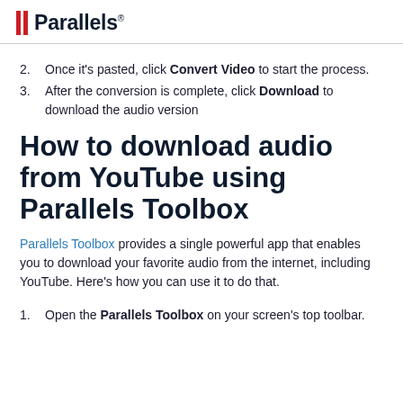Parallels
2. Once it's pasted, click Convert Video to start the process.
3. After the conversion is complete, click Download to download the audio version
How to download audio from YouTube using Parallels Toolbox
Parallels Toolbox provides a single powerful app that enables you to download your favorite audio from the internet, including YouTube. Here's how you can use it to do that.
1. Open the Parallels Toolbox on your screen's top toolbar.